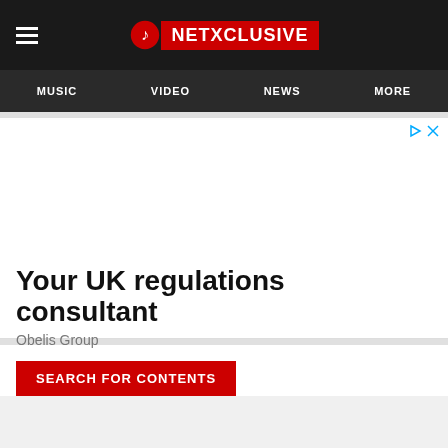NETXCLUSIVE — MUSIC | VIDEO | NEWS | MORE
[Figure (screenshot): Advertisement area for 'Your UK regulations consultant' by Obelis Group with ad controls (play and close icons)]
Your UK regulations consultant
Obelis Group
SEARCH FOR CONTENTS